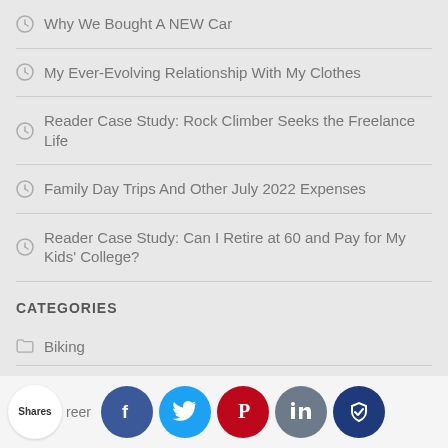Why We Bought A NEW Car
My Ever-Evolving Relationship With My Clothes
Reader Case Study: Rock Climber Seeks the Freelance Life
Family Day Trips And Other July 2022 Expenses
Reader Case Study: Can I Retire at 60 and Pay for My Kids' College?
CATEGORIES
Biking
reer
Shares